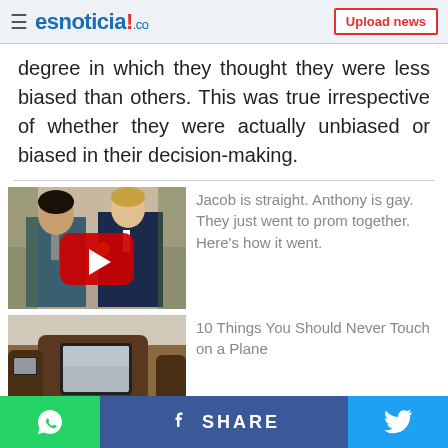esnoticia!.co — Upload news
degree in which they thought they were less biased than others. This was true irrespective of whether they were actually unbiased or biased in their decision-making.
[Figure (photo): Two young men in suits posing together outdoors with a YouTube play button overlay]
Jacob is straight. Anthony is gay. They just went to prom together. Here's how it went.
[Figure (photo): Airplane seat backs with in-flight entertainment screens]
10 Things You Should Never Touch on a Plane
WhatsApp | f SHARE | Twitter